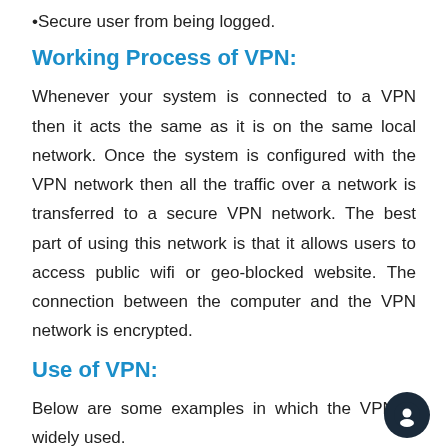Secure user from being logged.
Working Process of VPN:
Whenever your system is connected to a VPN then it acts the same as it is on the same local network. Once the system is configured with the VPN network then all the traffic over a network is transferred to a secure VPN network. The best part of using this network is that it allows users to access public wifi or geo-blocked website. The connection between the computer and the VPN network is encrypted.
Use of VPN:
Below are some examples in which the VPN is widely used.